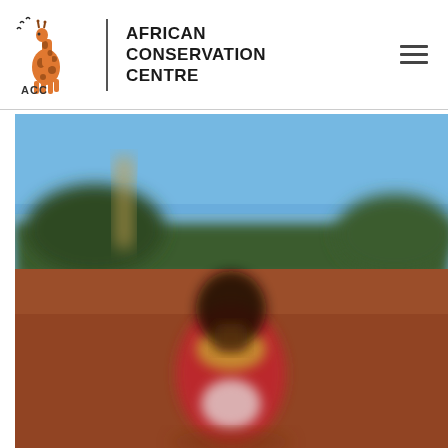African Conservation Centre
[Figure (photo): Blurred outdoor photo showing a person in a red garment with a giraffe visible in the background against a blue sky with trees and reddish-brown ground.]